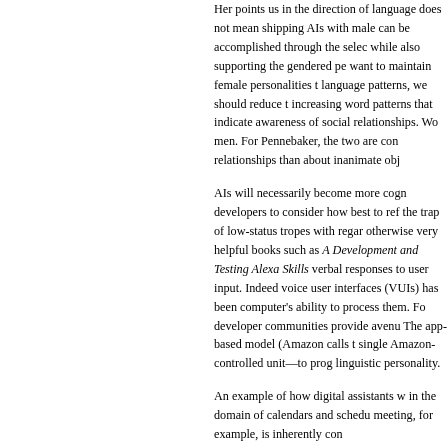Her points us in the direction of language does not mean shipping AIs with male can be accomplished through the sele while also supporting the gendered pe want to maintain female personalities language patterns, we should reduce increasing word patterns that indicate awareness of social relationships. Wo men. For Pennebaker, the two are cor relationships than about inanimate obj
AIs will necessarily become more cog developers to consider how best to ref the trap of low-status tropes with rega otherwise very helpful books such as Development and Testing Alexa Skills verbal responses to user input. Indee voice user interfaces (VUIs) has been computer's ability to process them. Fo developer communities provide avenu The app-based model (Amazon calls t single Amazon-controlled unit—to prog linguistic personality.
An example of how digital assistants w in the domain of calendars and schedu meeting, for example, is inherently cor